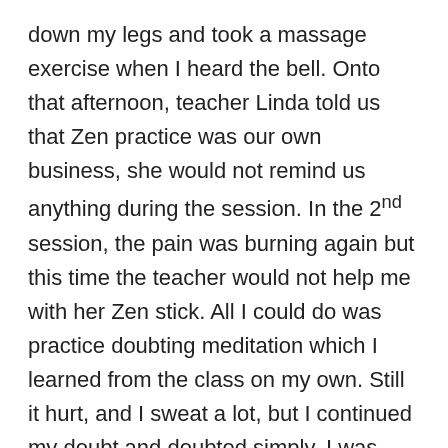down my legs and took a massage exercise when I heard the bell. Onto that afternoon, teacher Linda told us that Zen practice was our own business, she would not remind us anything during the session. In the 2nd session, the pain was burning again but this time the teacher would not help me with her Zen stick. All I could do was practice doubting meditation which I learned from the class on my own. Still it hurt, and I sweat a lot, but I continued my doubt and doubted simply. I was clearly aware my situation that I was shaking, upset, and out of patience. But I did not lose myself in the chaos of fear and confusion as I did the day before.
As the retreat ended up, I went down the mountain to my daily life and reviewed my practice. I did not reach the goal of 100% engagement to Zen practice as teacher Linda required, but during the retreat, still set I had set in...